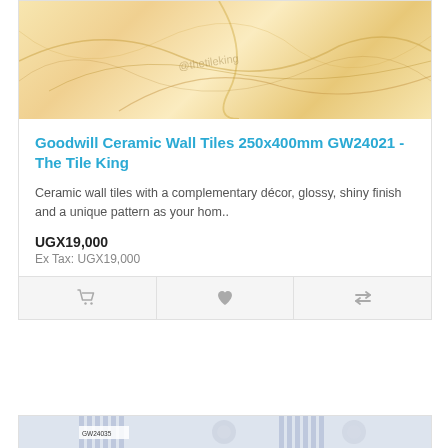[Figure (photo): Marble texture ceramic wall tile product image with cream and golden tones]
Goodwill Ceramic Wall Tiles 250x400mm GW24021 - The Tile King
Ceramic wall tiles with a complementary décor, glossy, shiny finish and a unique pattern as your hom..
UGX19,000
Ex Tax: UGX19,000
[Figure (screenshot): Action buttons row: cart icon, heart/wishlist icon, compare icon]
[Figure (photo): Second product card image showing blue/white patterned tile GW24035]